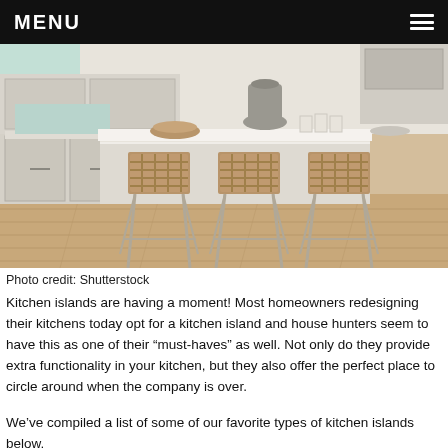MENU
[Figure (photo): A bright, modern kitchen interior featuring a large white kitchen island with three woven leather bar stools with metal frames. The kitchen has light gray cabinetry, white countertops, light hardwood floors, and a farmhouse sink. Various decorative items sit on the island countertop.]
Photo credit: Shutterstock
Kitchen islands are having a moment! Most homeowners redesigning their kitchens today opt for a kitchen island and house hunters seem to have this as one of their “must-haves” as well. Not only do they provide extra functionality in your kitchen, but they also offer the perfect place to circle around when the company is over.
We’ve compiled a list of some of our favorite types of kitchen islands below.